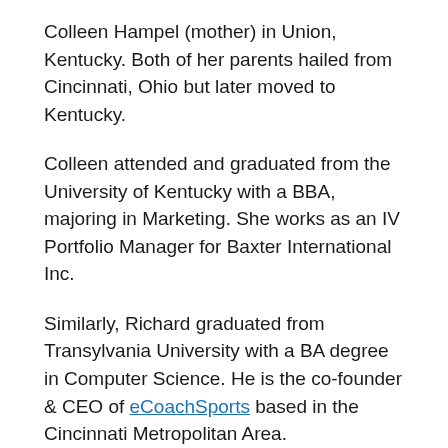Colleen Hampel (mother) in Union, Kentucky. Both of her parents hailed from Cincinnati, Ohio but later moved to Kentucky.
Colleen attended and graduated from the University of Kentucky with a BBA, majoring in Marketing. She works as an IV Portfolio Manager for Baxter International Inc.
Similarly, Richard graduated from Transylvania University with a BA degree in Computer Science. He is the co-founder & CEO of eCoachSports based in the Cincinnati Metropolitan Area.
Harper Hempel grew up in Union with her elder brother Conner Hempel. Her brother attended and graduated from Harvard University in 2015 where he played football for the Harvard Crismon Football team.